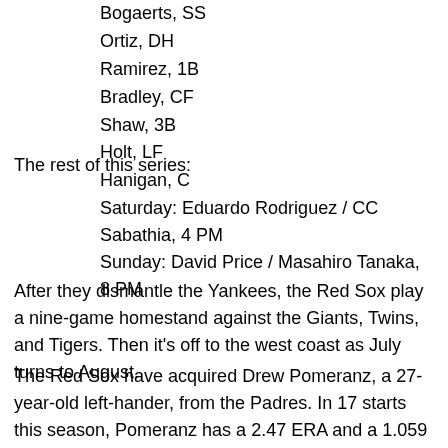Bogaerts, SS
Ortiz, DH
Ramirez, 1B
Bradley, CF
Shaw, 3B
Holt, LF
Hanigan, C
The rest of this series:
Saturday: Eduardo Rodriguez / CC Sabathia, 4 PM
Sunday: David Price / Masahiro Tanaka, 8 PM
After they dismantle the Yankees, the Red Sox play a nine-game homestand against the Giants, Twins, and Tigers. Then it's off to the west coast as July turns to August.
The Red Sox have acquired Drew Pomeranz, a 27-year-old left-hander, from the Padres. In 17 starts this season, Pomeranz has a 2.47 ERA and a 1.059 WHIP. Boston gave up Anderson Espinoza, an 18-year-old pitcher ranked as